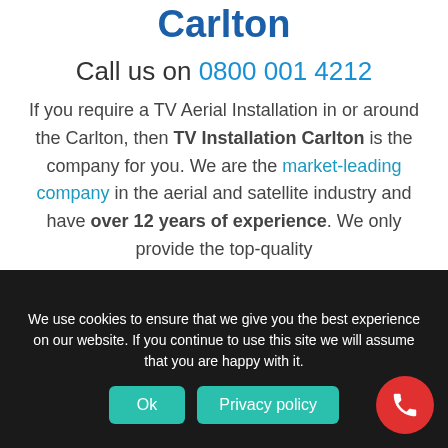TV Aerial Installation Carlton
Call us on 0800 001 4212
If you require a TV Aerial Installation in or around the Carlton, then TV Installation Carlton is the company for you. We are the market-leading company in the aerial and satellite industry and have over 12 years of experience. We only provide the top-quality
We use cookies to ensure that we give you the best experience on our website. If you continue to use this site we will assume that you are happy with it.
Ok
Privacy policy